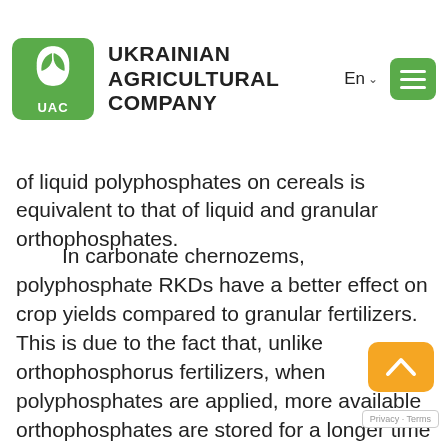Ukrainian Agricultural Company
of liquid polyphosphates on cereals is equivalent to that of liquid and granular orthophosphates.
In carbonate chernozems, polyphosphate RKDs have a better effect on crop yields compared to granular fertilizers. This is due to the fact that, unlike orthophosphorus fertilizers, when polyphosphates are applied, more available orthophosphates are stored for a longer time in the soil, and a stock of soluble phosphates is formed. Polyphosphates provide plants with zinc on carbonate soils.
In gray soils, liquid ammonium polyphosphates are better absorbed than orthophosphates. The